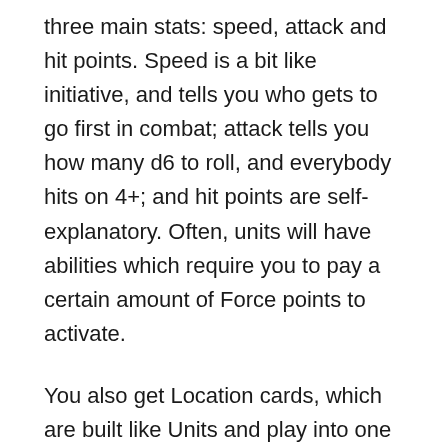three main stats: speed, attack and hit points. Speed is a bit like initiative, and tells you who gets to go first in combat; attack tells you how many d6 to roll, and everybody hits on 4+; and hit points are self-explanatory. Often, units will have abilities which require you to pay a certain amount of Force points to activate.
You also get Location cards, which are built like Units and play into one of the three arenas, granting your units there a global effect of some sort, and there are Battle cards, which are like event cards which you pay for with Force points, and grant you a temporary effect for a single battle round. In addition, Mission cards are built but have a one-time effect, and Equipment cards that you build onto units, and there